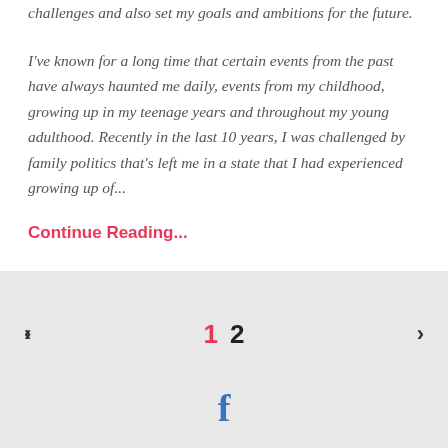challenges and also set my goals and ambitions for the future.
I've known for a long time that certain events from the past have always haunted me daily, events from my childhood, growing up in my teenage years and throughout my young adulthood. Recently in the last 10 years, I was challenged by family politics that's left me in a state that I had experienced growing up of...
Continue Reading...
< 1 2 >
f